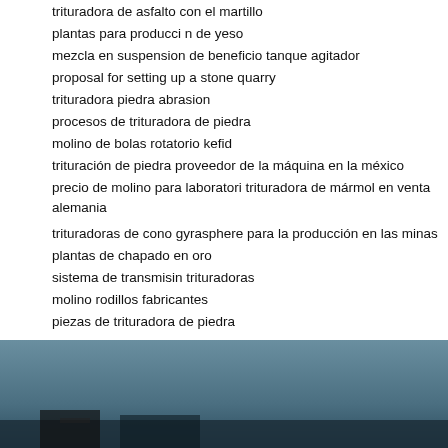trituradora de asfalto con el martillo
plantas para producci n de yeso
mezcla en suspension de beneficio tanque agitador
proposal for setting up a stone quarry
trituradora piedra abrasion
procesos de trituradora de piedra
molino de bolas rotatorio kefid
trituración de piedra proveedor de la máquina en la méxico
precio de molino para laboratori trituradora de mármol en venta alemania
trituradoras de cono gyrasphere para la producción en las minas
plantas de chapado en oro
sistema de transmisin trituradoras
molino rodillos fabricantes
piezas de trituradora de piedra
[Figure (photo): Dark blue/grey background image at the bottom of the page, appears to show a landscape or industrial scene with dark elements at the bottom]